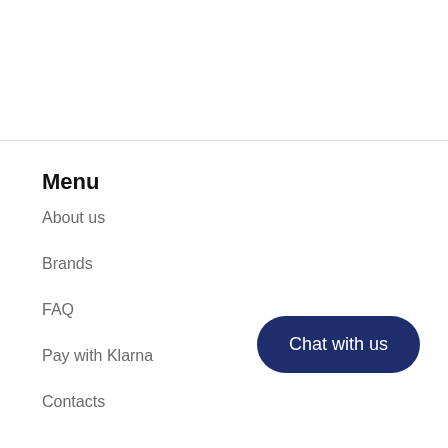Menu
About us
Brands
FAQ
Pay with Klarna
Contacts
Chat with us